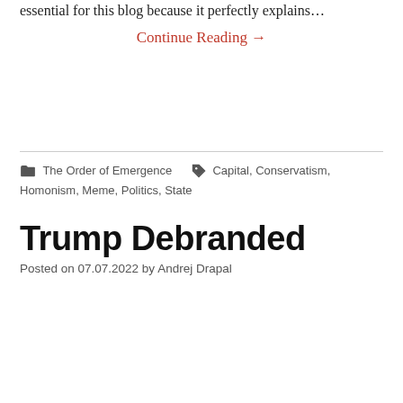essential for this blog because it perfectly explains…
Continue Reading →
The Order of Emergence   Capital, Conservatism, Homonism, Meme, Politics, State
Trump Debranded
Posted on 07.07.2022 by Andrej Drapal